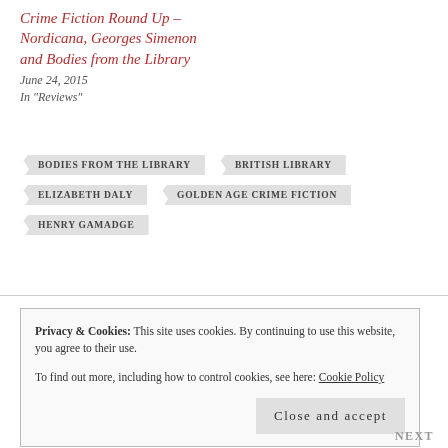Crime Fiction Round Up – Nordicana, Georges Simenon and Bodies from the Library
June 24, 2015
In "Reviews"
BODIES FROM THE LIBRARY
BRITISH LIBRARY
ELIZABETH DALY
GOLDEN AGE CRIME FICTION
HENRY GAMADGE
Privacy & Cookies: This site uses cookies. By continuing to use this website, you agree to their use. To find out more, including how to control cookies, see here: Cookie Policy
Close and accept
NEXT